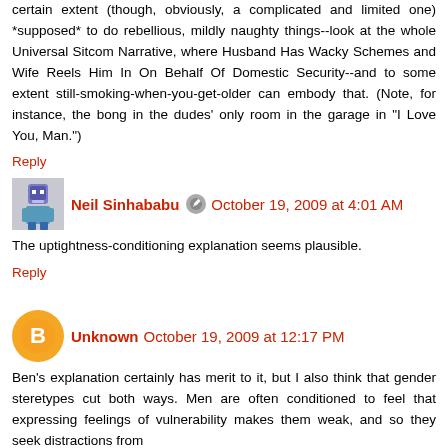certain extent (though, obviously, a complicated and limited one) *supposed* to do rebellious, mildly naughty things--look at the whole Universal Sitcom Narrative, where Husband Has Wacky Schemes and Wife Reels Him In On Behalf Of Domestic Security--and to some extent still-smoking-when-you-get-older can embody that. (Note, for instance, the bong in the dudes' only room in the garage in "I Love You, Man.")
Reply
Neil Sinhababu   October 19, 2009 at 4:01 AM
The uptightness-conditioning explanation seems plausible.
Reply
Unknown   October 19, 2009 at 12:17 PM
Ben's explanation certainly has merit to it, but I also think that gender steretypes cut both ways. Men are often conditioned to feel that expressing feelings of vulnerability makes them weak, and so they seek distractions from